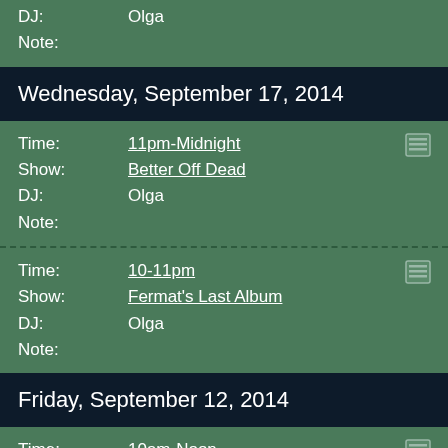DJ: Olga
Note:
Wednesday, September 17, 2014
Time: 11pm-Midnight
Show: Better Off Dead
DJ: Olga
Note:
Time: 10-11pm
Show: Fermat's Last Album
DJ: Olga
Note:
Friday, September 12, 2014
Time: 10am-Noon
Show: Late Risers' Club
DJ: Olga
Note: